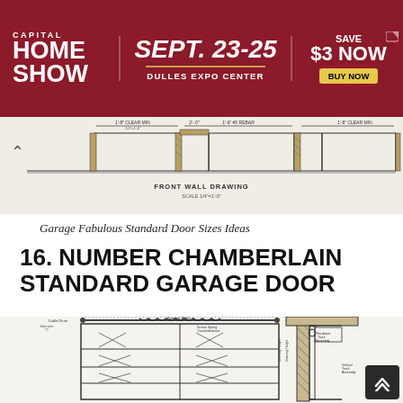[Figure (infographic): Capital Home Show advertisement banner. Red background. Text: CAPITAL HOME SHOW | SEPT. 23-25 | DULLES EXPO CENTER | SAVE $3 NOW | BUY NOW button]
[Figure (engineering-diagram): Front wall drawing of garage doors shown in plan view, architectural blueprint style with multiple garage door openings]
Garage Fabulous Standard Door Sizes Ideas
16. NUMBER CHAMBERLAIN STANDARD GARAGE DOOR
[Figure (engineering-diagram): Chamberlain standard garage door technical diagram showing front view with cable drum, torsion spring counterbalance, opening width, clearances, and a side cross-section view with hardware track assembly, vertical track assembly, and dimensional annotations]